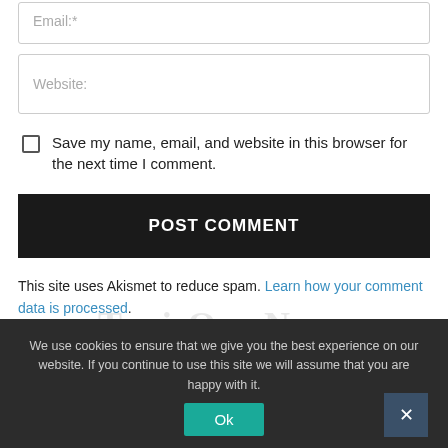Email:*
Website:
Save my name, email, and website in this browser for the next time I comment.
POST COMMENT
This site uses Akismet to reduce spam. Learn how your comment data is processed.
We use cookies to ensure that we give you the best experience on our website. If you continue to use this site we will assume that you are happy with it.
Ok